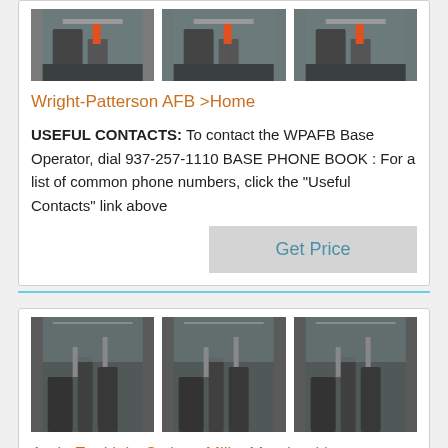[Figure (photo): Three industrial/machinery thumbnail images in a row]
Wright-Patterson AFB >Home
USEFUL CONTACTS: To contact the WPAFB Base Operator, dial 937-257-1110 BASE PHONE BOOK : For a list of common phone numbers, click the "Useful Contacts" link above
[Figure (photo): Three industrial facility thumbnail images in a row]
Andy Ezekiel - Owings Mills, Maryland | Professional ,
View Andy Ezekiel's profile on LinkedIn, the world's